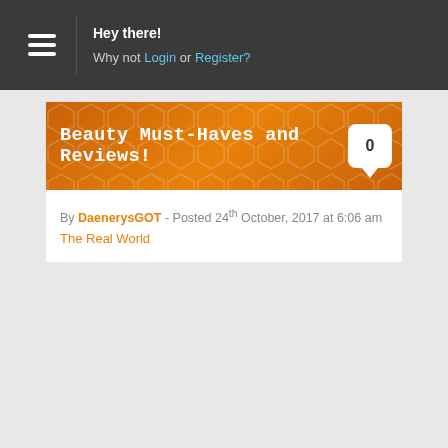Hey there! Why not Login or Register?
Beauty Must-Haves and Reviews!
By DaenerysGOT - Posted 24th October, 2017 at 6:06 am
The Real World